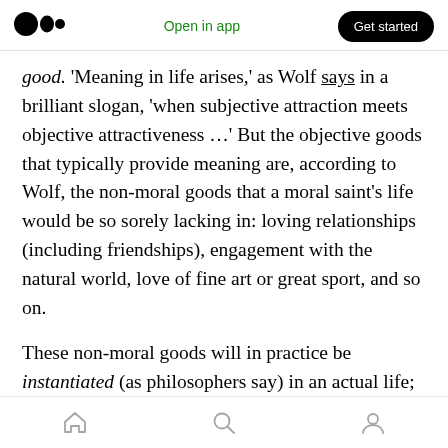Open in app  Get started
good. 'Meaning in life arises,' as Wolf says in a brilliant slogan, 'when subjective attraction meets objective attractiveness …' But the objective goods that typically provide meaning are, according to Wolf, the non-moral goods that a moral saint's life would be so sorely lacking in: loving relationships (including friendships), engagement with the natural world, love of fine art or great sport, and so on.
These non-moral goods will in practice be instantiated (as philosophers say) in an actual life; in my case, a loving relationship is, for
Home  Search  Profile